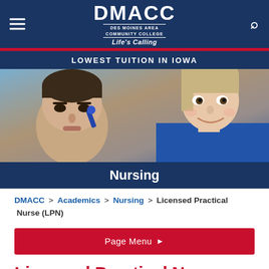DMACC - Des Moines Area Community College - Life's Calling
LOWEST TUITION IN IOWA
[Figure (photo): Close-up photo of a nursing student in blue scrubs smiling while using a medical instrument on a mannequin/patient simulator]
Nursing
DMACC > Academics > Nursing > Licensed Practical Nurse (LPN)
Page Menu
Licensed Practical Nurse